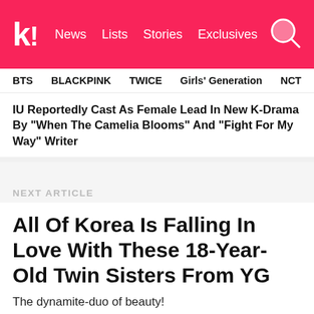k! News Lists Stories Exclusives
BTS   BLACKPINK   TWICE   Girls' Generation   NCT   aespa
IU Reportedly Cast As Female Lead In New K-Drama By "When The Camelia Blooms" And "Fight For My Way" Writer
NEXT ARTICLE
All Of Korea Is Falling In Love With These 18-Year-Old Twin Sisters From YG
The dynamite-duo of beauty!
STORIES
Koreaboo